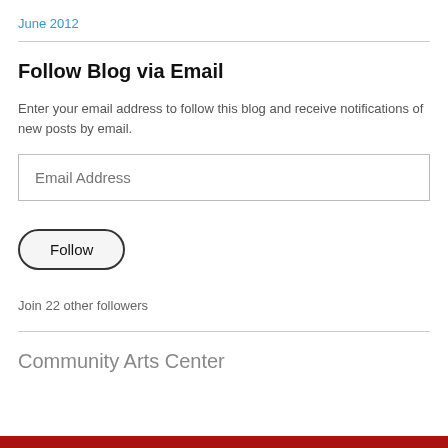June 2012
Follow Blog via Email
Enter your email address to follow this blog and receive notifications of new posts by email.
Email Address
Follow
Join 22 other followers
Community Arts Center